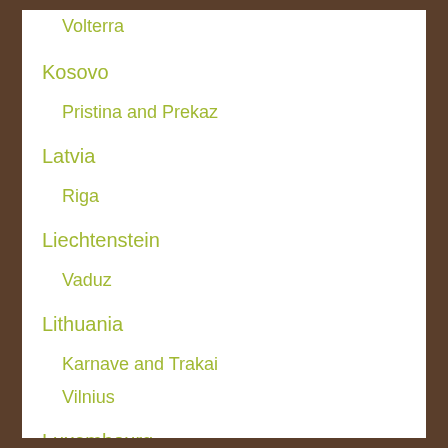Volterra
Kosovo
Pristina and Prekaz
Latvia
Riga
Liechtenstein
Vaduz
Lithuania
Karnave and Trakai
Vilnius
Luxembourg
Luxembourg City